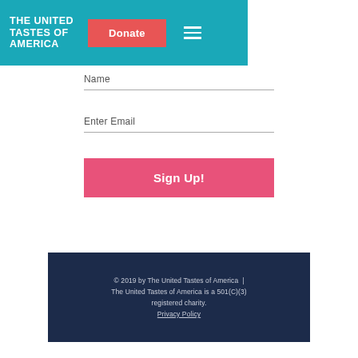[Figure (logo): The United Tastes of America logo with teal background, white bold text, red Donate button, and white hamburger menu icon]
Name
Enter Email
Sign Up!
© 2019 by The United Tastes of America | The United Tastes of America is a 501(C)(3) registered charity. Privacy Policy